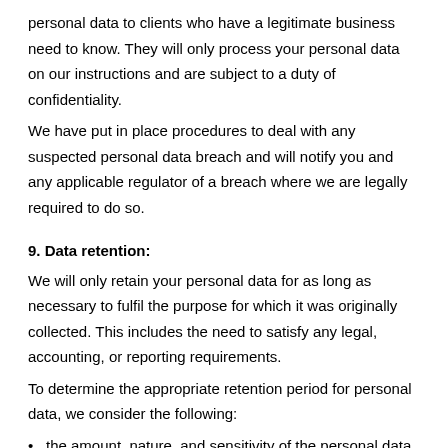personal data to clients who have a legitimate business need to know. They will only process your personal data on our instructions and are subject to a duty of confidentiality.
We have put in place procedures to deal with any suspected personal data breach and will notify you and any applicable regulator of a breach where we are legally required to do so.
9. Data retention:
We will only retain your personal data for as long as necessary to fulfil the purpose for which it was originally collected. This includes the need to satisfy any legal, accounting, or reporting requirements.
To determine the appropriate retention period for personal data, we consider the following:
the amount, nature, and sensitivity of the personal data
the potential risk of harm from unauthorised use or disclosure of your personal data
the purposes for which we process and retain your personal data
whether we can achieve those purposes through other means